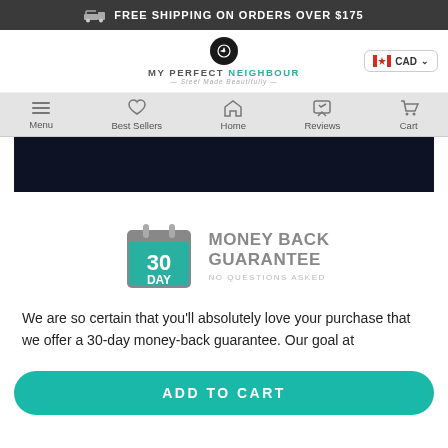FREE SHIPPING ON ORDERS OVER $175
[Figure (logo): My Perfect Neighbour logo with circular emblem and tagline 'Steel Made Beautifully']
CAD
Menu | Best Sellers | Home | Reviews | Cart
[Figure (photo): Dark navy/black product image section]
[Figure (infographic): 30 Day Money Back Guarantee No Questions Asked badge with calendar icon]
We are so certain that you'll absolutely love your purchase that we offer a 30-day money-back guarantee. Our goal at
ADD TO CART